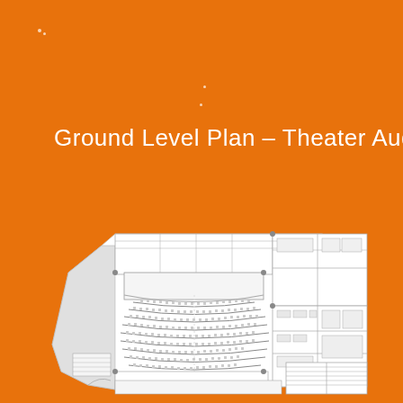Ground Level Plan – Theater Auditorium
[Figure (engineering-diagram): Ground level architectural floor plan of a theater auditorium shown on an orange background. The plan shows the auditorium seating area with rows of seats arranged in a fan/horseshoe pattern around a stage at the front. The building footprint is irregular/angled. To the right are support rooms, offices and corridors. The upper portion shows backstage and fly tower areas. The plan is drawn in white/light grey lines on white fill.]